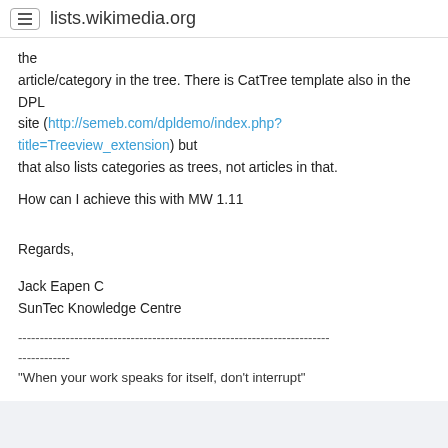lists.wikimedia.org
the article/category in the tree. There is CatTree template also in the DPL site (http://semeb.com/dpldemo/index.php?title=Treeview_extension) but that also lists categories as trees, not articles in that.
How can I achieve this with MW 1.11
Regards,
Jack Eapen C
SunTec Knowledge Centre
---------------------------------------------------------------------------- "When your work speaks for itself, don't interrupt"